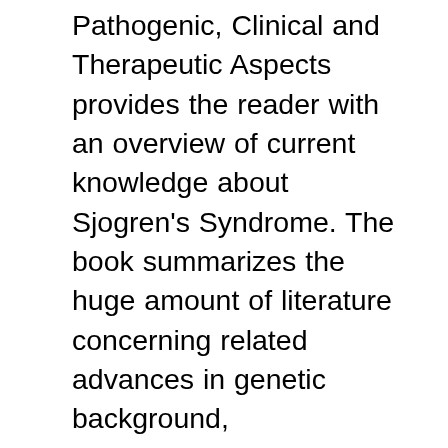Pathogenic, Clinical and Therapeutic Aspects provides the reader with an overview of current knowledge about Sjogren's Syndrome. The book summarizes the huge amount of literature concerning related advances in genetic background, pathogenesis, clinical picture, and therapeutic approaches. It integrates basic immunology concepts, clinical aspects, and pharmacological issues. Scientific progress has allowed us to unmask novel pathogenic mechanisms, to perform genome wide studies, and to identify clinical and serological features associated with different disease subsets and, eventually, different disease prognoses. In addition, the increasing knowledge about SS pathogenesis provides the rationale to employ targeted